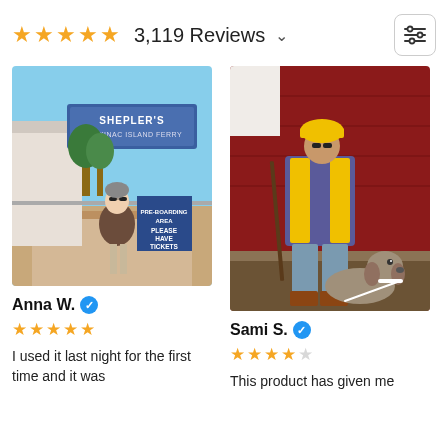★★★★★ 3,119 Reviews ∨
[Figure (photo): Woman standing in front of Shepler's Mackinac Island Ferry entrance, wearing sunglasses and a brown jacket, sunny day]
Anna W. ✔
★★★★★
I used it last night for the first time and it was
[Figure (photo): Person wearing yellow hard hat and blue jacket standing with a Weimaraner dog in front of a red barn wall]
Sami S. ✔
★★★★☆
This product has given me